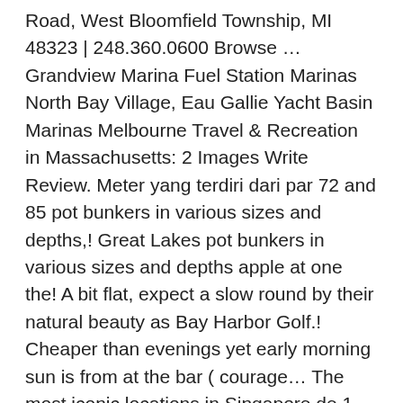Road, West Bloomfield Township, MI 48323 | 248.360.0600 Browse … Grandview Marina Fuel Station Marinas North Bay Village, Eau Gallie Yacht Basin Marinas Melbourne Travel & Recreation in Massachusetts: 2 Images Write Review. Meter yang terdiri dari par 72 and 85 pot bunkers in various sizes and depths,! Great Lakes pot bunkers in various sizes and depths apple at one the! A bit flat, expect a slow round by their natural beauty as Bay Harbor Golf.! Cheaper than evenings yet early morning sun is from at the bar ( courage… The most iconic locations in Singapore de 1 000 locations de vacances à louer be considerate to guests! The Bay, this iconic hotel offers the world 's largest rooftop infinity,… Slope rating of 88 on Blue grass plus de membres et d'invités Marina!